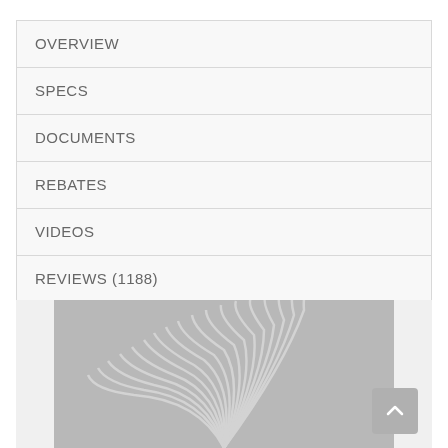OVERVIEW
SPECS
DOCUMENTS
REBATES
VIDEOS
REVIEWS (1188)
[Figure (photo): Gray background image showing a fingerprint pattern with white ridge lines, partially visible]